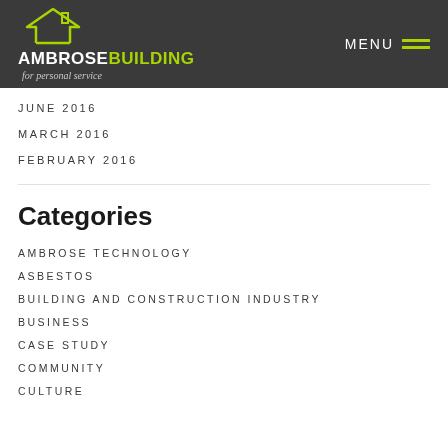[Figure (logo): Ambrose Building logo with house outline in lime green, text AMBROSE in white and BUILDING in lime green, tagline 'for personal service' in grey italic. MENU button with two lime green horizontal lines on right side of dark grey header.]
JUNE 2016
MARCH 2016
FEBRUARY 2016
Categories
AMBROSE TECHNOLOGY
ASBESTOS
BUILDING AND CONSTRUCTION INDUSTRY
BUSINESS
CASE STUDY
COMMUNITY
CULTURE